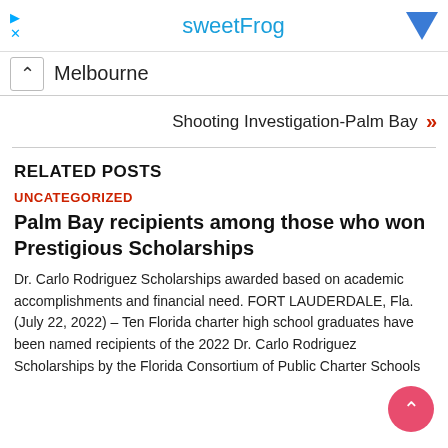[Figure (screenshot): Advertisement banner for sweetFrog with play/close icons on left and blue dropdown arrow on right]
Melbourne
Shooting Investigation-Palm Bay »
RELATED POSTS
UNCATEGORIZED
Palm Bay recipients among those who won Prestigious Scholarships
Dr. Carlo Rodriguez Scholarships awarded based on academic accomplishments and financial need. FORT LAUDERDALE, Fla. (July 22, 2022) – Ten Florida charter high school graduates have been named recipients of the 2022 Dr. Carlo Rodriguez Scholarships by the Florida Consortium of Public Charter Schools